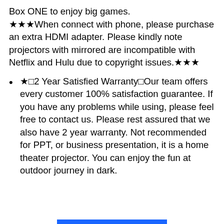Box ONE to enjoy big games. ★★★When connect with phone, please purchase an extra HDMI adapter. Please kindly note projectors with mirrored are incompatible with Netflix and Hulu due to copyright issues.★★★
★□2 Year Satisfied Warranty□Our team offers every customer 100% satisfaction guarantee. If you have any problems while using, please feel free to contact us. Please rest assured that we also have 2 year warranty. Not recommended for PPT, or business presentation, it is a home theater projector. You can enjoy the fun at outdoor journey in dark.